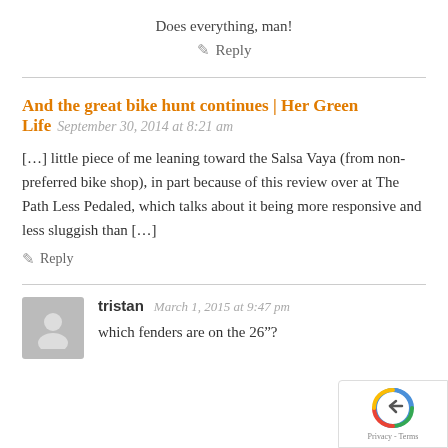Does everything, man!
✎ Reply
And the great bike hunt continues | Her Green Life  September 30, 2014 at 8:21 am
[…] little piece of me leaning toward the Salsa Vaya (from non-preferred bike shop), in part because of this review over at The Path Less Pedaled, which talks about it being more responsive and less sluggish than […]
✎ Reply
tristan  March 1, 2015 at 9:47 pm
which fenders are on the 26″?